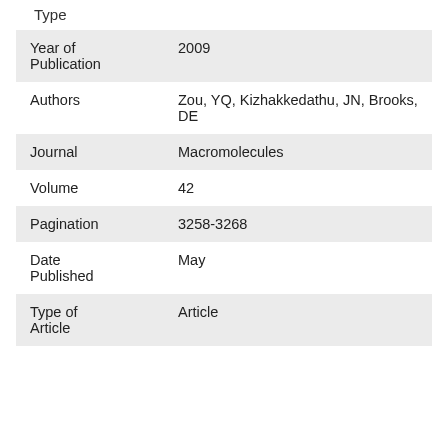Type
| Field | Value |
| --- | --- |
| Year of Publication | 2009 |
| Authors | Zou, YQ, Kizhakkedathu, JN, Brooks, DE |
| Journal | Macromolecules |
| Volume | 42 |
| Pagination | 3258-3268 |
| Date Published | May |
| Type of Article | Article |